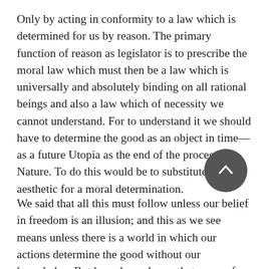Only by acting in conformity to a law which is determined for us by reason. The primary function of reason as legislator is to prescribe the moral law which must then be a law which is universally and absolutely binding on all rational beings and also a law which of necessity we cannot understand. For to understand it we should have to determine the good as an object in time—as a future Utopia as the end of the process of Nature. To do this would be to substitute an aesthetic for a moral determination.
We said that all this must follow unless our belief in freedom is an illusion; and this as we see means unless there is a world in which our actions determine the good without our knowledge. But how do we know that we are free agents? Kant's reply is that we do not and cannot. In the moral field we are beyond the limits of knowledge. Then why should freedom not be